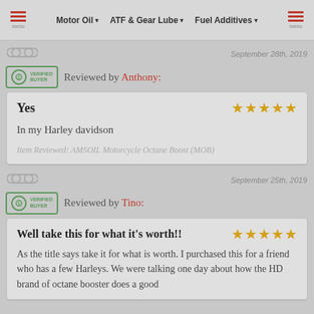Motor Oil | ATF & Gear Lube | Fuel Additives | menu
September 28th, 2019
Reviewed by Anthony:
Yes ★★★★★
In my Harley davidson
Item Reviewed: AMSOIL Motorcycle Octane Boost (MOB)
September 25th, 2019
Reviewed by Tino:
Well take this for what it's worth!! ★★★★★
As the title says take it for what is worth. I purchased this for a friend who has a few Harleys. We were talking one day about how the HD brand of octane booster does a good